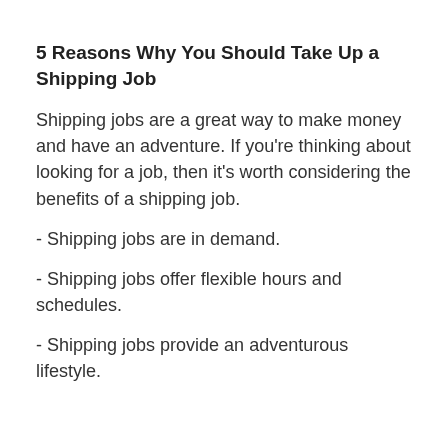5 Reasons Why You Should Take Up a Shipping Job
Shipping jobs are a great way to make money and have an adventure. If you're thinking about looking for a job, then it's worth considering the benefits of a shipping job.
- Shipping jobs are in demand.
- Shipping jobs offer flexible hours and schedules.
- Shipping jobs provide an adventurous lifestyle.